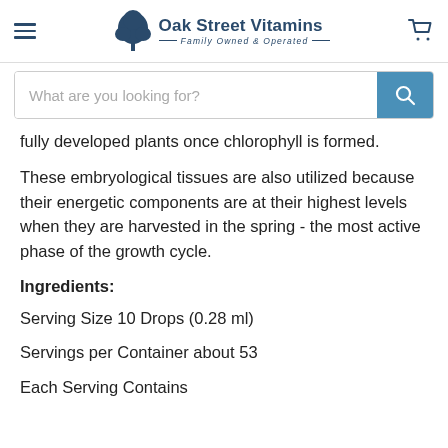Oak Street Vitamins — Family Owned & Operated
fully developed plants once chlorophyll is formed.
These embryological tissues are also utilized because their energetic components are at their highest levels when they are harvested in the spring - the most active phase of the growth cycle.
Ingredients:
Serving Size 10 Drops (0.28 ml)
Servings per Container about 53
Each Serving Contains